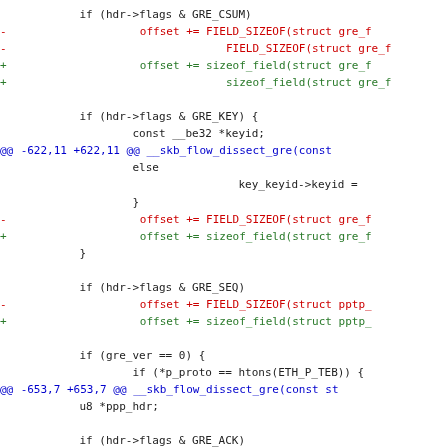[Figure (screenshot): A code diff showing changes in a Linux kernel source file, replacing FIELD_SIZEOF with sizeof_field in GRE header parsing functions. Context lines in black/dark, removed lines prefixed with '-' in red, added lines prefixed with '+' in green, and diff hunk headers in blue.]